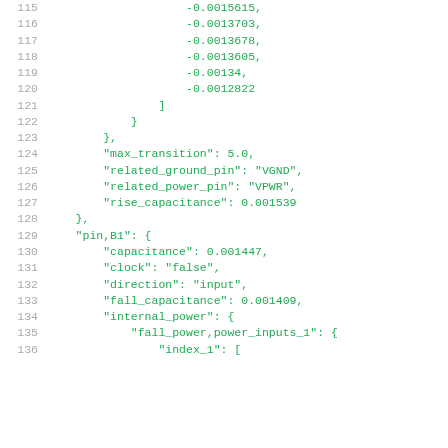115    -0.0015615,
116    -0.0013703,
117    -0.0013678,
118    -0.0013605,
119    -0.00134,
120    -0.0012822
121    ]
122    }
123    },
124    "max_transition": 5.0,
125    "related_ground_pin": "VGND",
126    "related_power_pin": "VPWR",
127    "rise_capacitance": 0.001539
128    },
129    "pin,B1": {
130    "capacitance": 0.001447,
131    "clock": "false",
132    "direction": "input",
133    "fall_capacitance": 0.001409,
134    "internal_power": {
135    "fall_power,power_inputs_1": {
136    "index_1": [